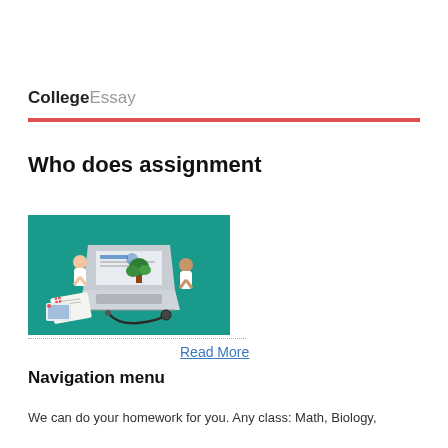CollegeEssay
Who does assignment
[Figure (illustration): Isometric illustration of medical professionals (doctors in white coats) standing around a laptop computer with a medical interface, along with medical documents and a stethoscope, on a teal background]
Read More
Navigation menu
We can do your homework for you. Any class: Math, Biology,